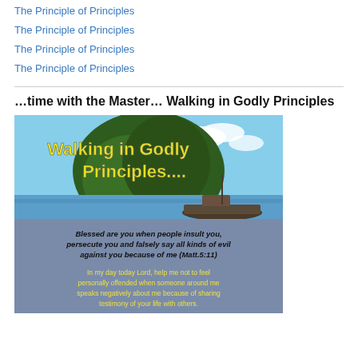The Principle of Principles
The Principle of Principles
The Principle of Principles
The Principle of Principles
…time with the Master… Walking in Godly Principles
[Figure (illustration): Image titled 'Walking in Godly Principles...' showing a tropical island with a boat on blue water in the upper portion. The lower portion has a blue-grey background with italic bold black text: 'Blessed are you when people insult you, persecute you and falsely say all kinds of evil against you because of me (Matt.5:11)' and yellow text below: 'In my day today Lord, help me not to feel personally offended when someone around me speaks negatively about me because of sharing testimony of your life with others.']